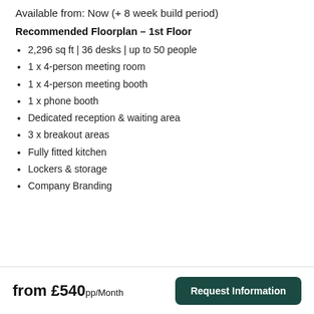Available from: Now (+ 8 week build period)
Recommended Floorplan – 1st Floor
2,296 sq ft | 36 desks | up to 50 people
1 x 4-person meeting room
1 x 4-person meeting booth
1 x phone booth
Dedicated reception & waiting area
3 x breakout areas
Fully fitted kitchen
Lockers & storage
Company Branding
from £540pp/Month   Request Information